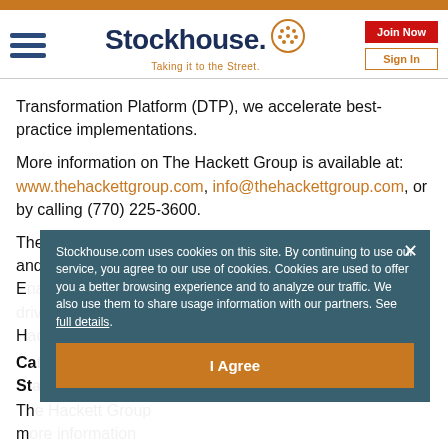Stockhouse — Taking it to the Street. [Navigation header with hamburger menu, Join Now, Sign In buttons]
Transformation Platform (DTP), we accelerate best-practice implementations.
More information on The Hackett Group is available at: www.thehackettgroup.com, info@thehackettgroup.com, or by calling (770) 225-3600.
The Hackett Group, quadrant logo, World Class Defined and E... H...
Ca... St...
Th... m... ar...
Stockhouse.com uses cookies on this site. By continuing to use our service, you agree to our use of cookies. Cookies are used to offer you a better browsing experience and to analyze our traffic. We also use them to share usage information with our partners. See full details.